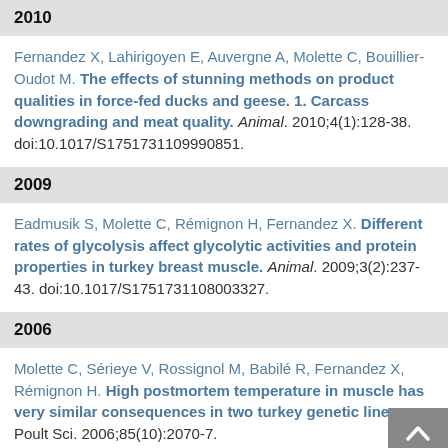2010
Fernandez X, Lahirigoyen E, Auvergne A, Molette C, Bouillier-Oudot M. The effects of stunning methods on product qualities in force-fed ducks and geese. 1. Carcass downgrading and meat quality. Animal. 2010;4(1):128-38. doi:10.1017/S1751731109990851.
2009
Eadmusik S, Molette C, Rémignon H, Fernandez X. Different rates of glycolysis affect glycolytic activities and protein properties in turkey breast muscle. Animal. 2009;3(2):237-43. doi:10.1017/S1751731108003327.
2006
Molette C, Sérieye V, Rossignol M, Babilé R, Fernandez X, Rémignon H. High postmortem temperature in muscle has very similar consequences in two turkey genetic lines. Poult Sci. 2006;85(10):2070-7.